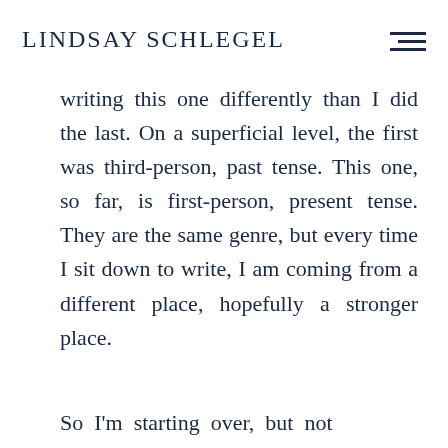LINDSAY SCHLEGEL
writing this one differently than I did the last. On a superficial level, the first was third-person, past tense. This one, so far, is first-person, present tense. They are the same genre, but every time I sit down to write, I am coming from a different place, hopefully a stronger place.
So I'm starting over, but not